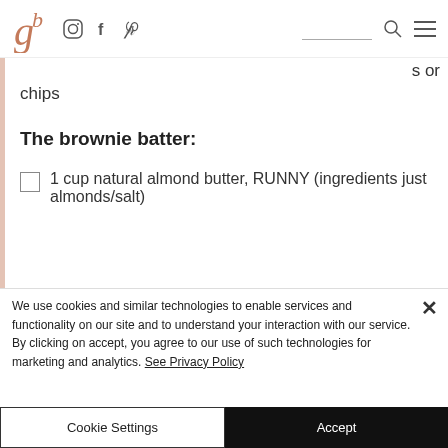gb [logo] [instagram] [facebook] [pinterest] [search] [menu]
s or chips
The brownie batter:
1 cup natural almond butter, RUNNY (ingredients just almonds/salt)
We use cookies and similar technologies to enable services and functionality on our site and to understand your interaction with our service. By clicking on accept, you agree to our use of such technologies for marketing and analytics. See Privacy Policy
Cookie Settings
Accept